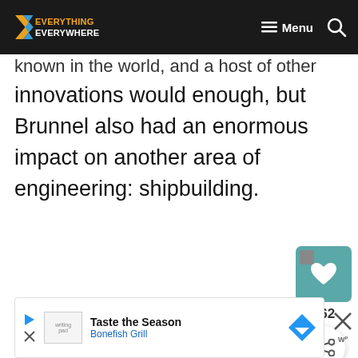Everything Everywhere — navigation bar with Menu and Search
known in the world, and a host of other innovations would enough, but Brunnel also had an enormous impact on another area of engineering: shipbuilding.
[Figure (screenshot): Like/heart button widget showing 162 likes and a share button]
[Figure (screenshot): Advertisement banner: Taste the Season — Bonefish Grill with arrow icon]